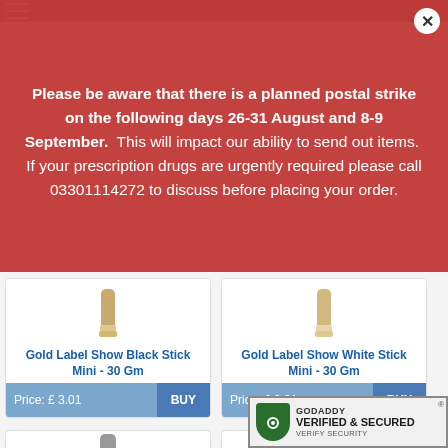Please be aware that there is a planned postal strike on the following days 26-31 August and 8-9 September. This will impact our ability to send out items. If your prescription drugs are urgently required please call 03301114272 to discuss before placing your order.
Gold Label Show Black Stick Mini - 30 Gm
Price: £ 3.01
Gold Label Show White Stick Mini - 30 Gm
Price: £ 3.01
[Figure (logo): GoDaddy Verified & Secured badge with shield icon]